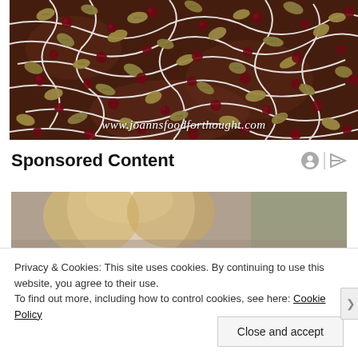[Figure (photo): Close-up photo of chocolate bark topped with pistachios, dried cranberries, and white chocolate drizzle. Watermark reads www.joannsfoodforthought.com]
Sponsored Content
[Figure (photo): Partial photo of a blonde woman looking down, used as sponsored content image]
Privacy & Cookies: This site uses cookies. By continuing to use this website, you agree to their use.
To find out more, including how to control cookies, see here: Cookie Policy
Close and accept